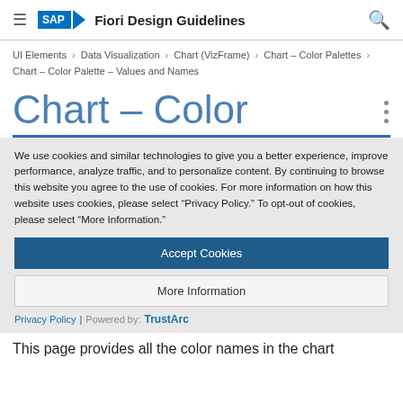SAP Fiori Design Guidelines
UI Elements › Data Visualization › Chart (VizFrame) › Chart – Color Palettes › Chart – Color Palette – Values and Names
Chart – Color
We use cookies and similar technologies to give you a better experience, improve performance, analyze traffic, and to personalize content. By continuing to browse this website you agree to the use of cookies. For more information on how this website uses cookies, please select "Privacy Policy." To opt-out of cookies, please select "More Information."
Accept Cookies
More Information
Privacy Policy | Powered by: TrustArc
This page provides all the color names in the chart